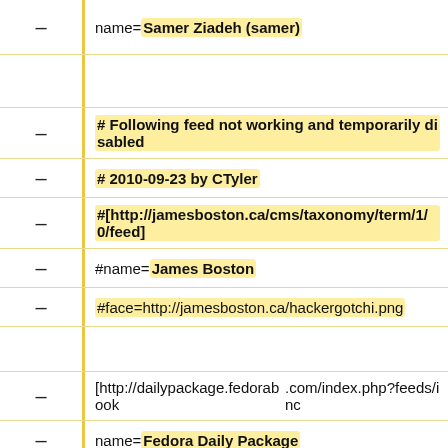name=Samer Ziadeh (samer)
# Following feed not working and temporarily disabled
# 2010-09-23 by CTyler
#[http://jamesboston.ca/cms/taxonomy/term/1/0/feed]
#name=James Boston
#face=http://jamesboston.ca/hackergotchi.png
[http://dailypackage.fedorabook.com/index.php?feeds/inc
name=Fedora Daily Package
[http://blog.fardad.com/feeds/posts/default/-/Seneca]
name=Fardad Soleimanloo